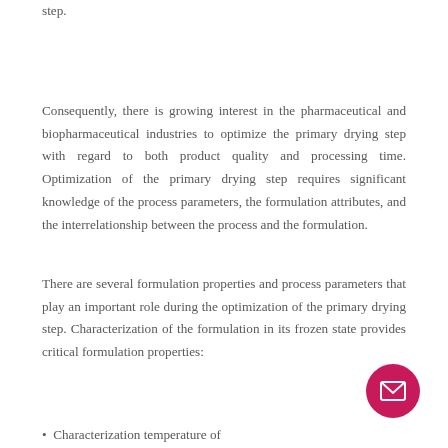step.
Consequently, there is growing interest in the pharmaceutical and biopharmaceutical industries to optimize the primary drying step with regard to both product quality and processing time. Optimization of the primary drying step requires significant knowledge of the process parameters, the formulation attributes, and the interrelationship between the process and the formulation.
There are several formulation properties and process parameters that play an important role during the optimization of the primary drying step. Characterization of the formulation in its frozen state provides critical formulation properties:
Characterization temperature of